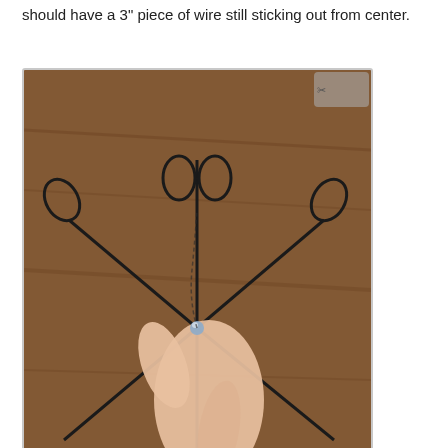should have a 3" piece of wire still sticking out from center.
[Figure (photo): A hand holding the center of a wire snowflake on a wooden surface, threading a bead onto a wire at the intersection point. Dark wire loops visible forming snowflake arms.]
Step Seven: Thread a bead onto this wire and position so that it is centered to the middle of your intersection. Wrap the extra wire, and bend in your cut end to complete. AT THIS POINT: you may want to use your 19-gauge steel wire to add beads to the each of your 6 ends as well. The extra beads really catch the light and look soo sparkly. Another way of finishing off the snowflake is to cut thin strips of cloth and tie to each end. You may also choose to spray paint your snowflake. Totally up to you how you'd like to embellish